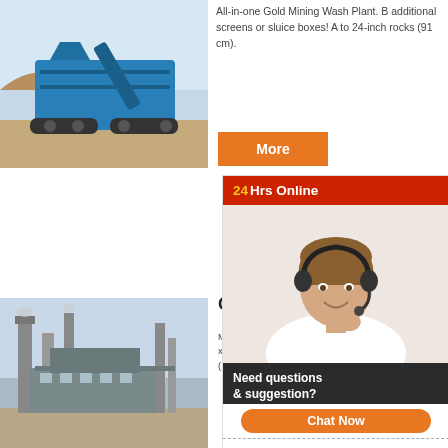[Figure (photo): Blue mobile mining/crushing machine on a dirt site]
All-in-one Gold Mining Wash Plant. B additional screens or sluice boxes! A to 24-inch rocks (91 cm).
More
[Figure (photo): Customer service agent with headset smiling]
24Hrs Online
Need questions & suggestion?
Chat Now
Enquiry
limingjlmofen
[Figure (photo): Industrial plant with tall chimneys and structures in desert setting]
Gold Mini...t
Minequip Mob WIDTH: 2293 m x 2: 2830 sq. m (150-200 Ton p M NG S: SH